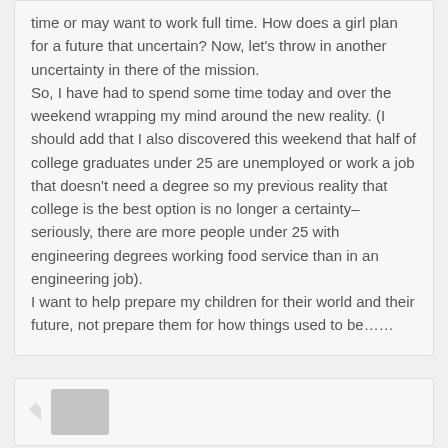time or may want to work full time. How does a girl plan for a future that uncertain? Now, let's throw in another uncertainty in there of the mission.
So, I have had to spend some time today and over the weekend wrapping my mind around the new reality. (I should add that I also discovered this weekend that half of college graduates under 25 are unemployed or work a job that doesn't need a degree so my previous reality that college is the best option is no longer a certainty–seriously, there are more people under 25 with engineering degrees working food service than in an engineering job).
I want to help prepare my children for their world and their future, not prepare them for how things used to be……
[Figure (photo): Avatar placeholder image (gray rectangle representing a user profile photo) in the second comment box]